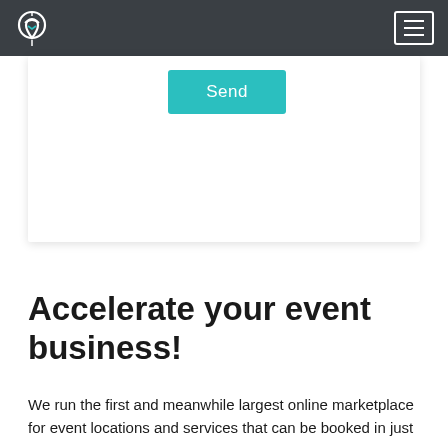[Logo] [Navigation menu icon]
[Figure (screenshot): Partial web form card with a teal 'Send' button visible]
Accelerate your event business!
We run the first and meanwhile largest online marketplace for event locations and services that can be booked in just a